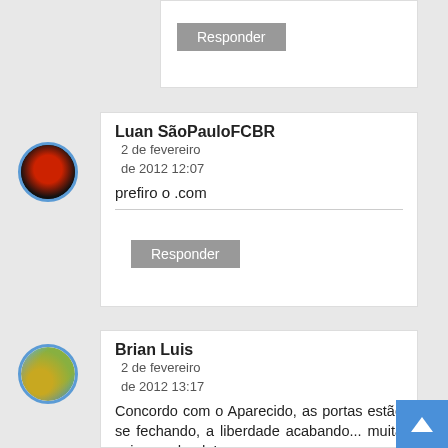Responder
Luan SãoPauloFCBR
2 de fevereiro de 2012 12:07
prefiro o .com
Responder
Brian Luis
2 de fevereiro de 2012 13:17
Concordo com o Aparecido, as portas estão se fechando, a liberdade acabando... muita coisa mudando!
Sinseramente eu prefiro apenas o blogspot.com
Abraços.
Responder